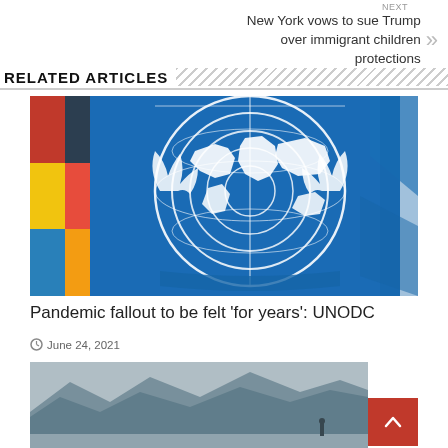NEXT
New York vows to sue Trump over immigrant children protections
RELATED ARTICLES
[Figure (photo): Close-up photograph of the United Nations flag showing the blue UN emblem with world map and olive branches, with flags of various nations blurred in the background]
Pandemic fallout to be felt ‘for years’: UNODC
June 24, 2021
[Figure (photo): Partial view of a mountainous landscape scene, likely from a news article, with a red scroll-to-top button in the bottom right corner]